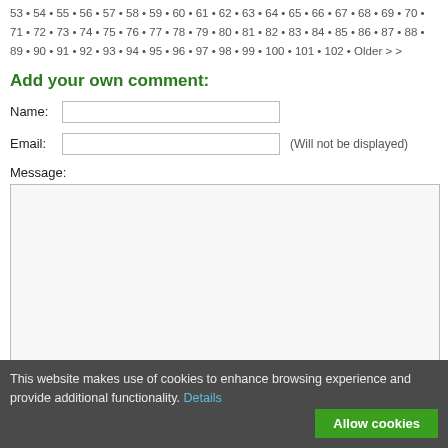53 • 54 • 55 • 56 • 57 • 58 • 59 • 60 • 61 • 62 • 63 • 64 • 65 • 66 • 67 • 68 • 69 • 70 • 71 • 72 • 73 • 74 • 75 • 76 • 77 • 78 • 79 • 80 • 81 • 82 • 83 • 84 • 85 • 86 • 87 • 88 • 89 • 90 • 91 • 92 • 93 • 94 • 95 • 96 • 97 • 98 • 99 • 100 • 101 • 102 • Older > >
Add your own comment:
Name:
Email:    (Will not be displayed)
Message:
This website makes use of cookies to enhance browsing experience and provide additional functionality. Details